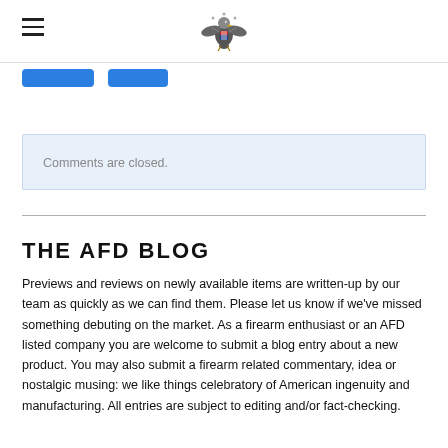AFD website header with hamburger menu and eagle logo
[Figure (logo): American eagle emblem/seal logo centered at top of page]
Comments are closed.
THE AFD BLOG
Previews and reviews on newly available items are written-up by our team as quickly as we can find them. Please let us know if we've missed something debuting on the market. As a firearm enthusiast or an AFD listed company you are welcome to submit a blog entry about a new product. You may also submit a firearm related commentary, idea or nostalgic musing: we like things celebratory of American ingenuity and manufacturing. All entries are subject to editing and/or fact-checking.